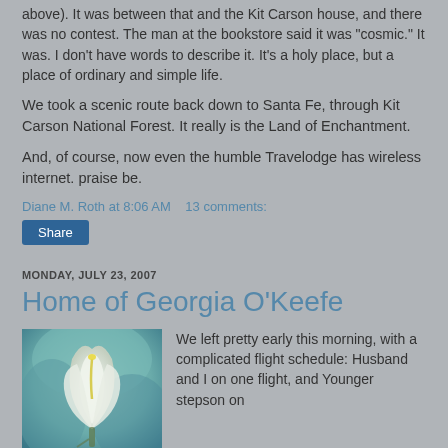above). It was between that and the Kit Carson house, and there was no contest. The man at the bookstore said it was "cosmic." It was. I don't have words to describe it. It's a holy place, but a place of ordinary and simple life.
We took a scenic route back down to Santa Fe, through Kit Carson National Forest. It really is the Land of Enchantment.
And, of course, now even the humble Travelodge has wireless internet. praise be.
Diane M. Roth at 8:06 AM    13 comments:
Share
MONDAY, JULY 23, 2007
Home of Georgia O'Keefe
[Figure (photo): Photo of white calla lily painting, Georgia O'Keefe style artwork]
We left pretty early this morning, with a complicated flight schedule: Husband and I on one flight, and Younger stepson on